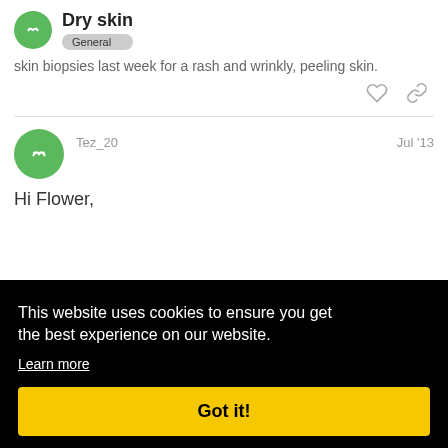Dry skin — General
skin biopsies last week for a rash and wrinkly, peeling skin.
Tez_20 — Jul '13
Hi Flower,
gren's
oil
6
This website uses cookies to ensure you get the best experience on our website. Learn more — Got it!